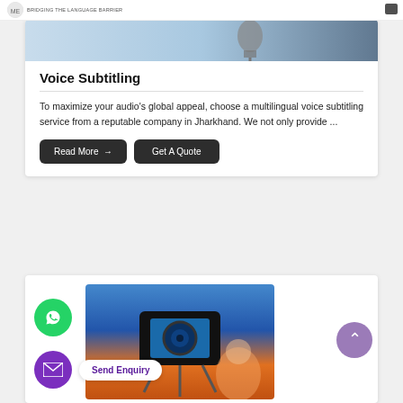[Figure (photo): Top image on card showing a microphone, partial view, light blue background — voice subtitling service photo]
Voice Subtitling
To maximize your audio's global appeal, choose a multilingual voice subtitling service from a reputable company in Jharkhand. We not only provide ...
Read More →
Get A Quote
[Figure (photo): Bottom card image: camera on tripod with screen showing broadcast, blurred woman presenter in background, orange-blue gradient]